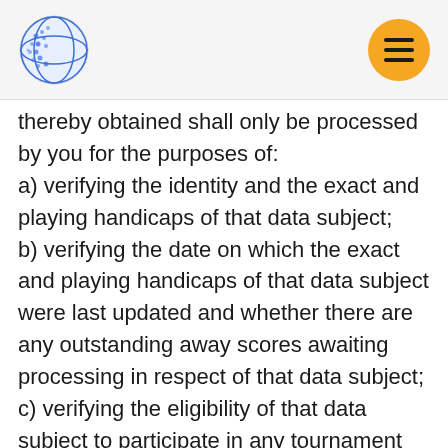[Logo] [Menu button]
thereby obtained shall only be processed by you for the purposes of:
a) verifying the identity and the exact and playing handicaps of that data subject;
b) verifying the date on which the exact and playing handicaps of that data subject were last updated and whether there are any outstanding away scores awaiting processing in respect of that data subject;
c) verifying the eligibility of that data subject to participate in any tournament the entry to which is restricted to members of golf clubs affiliated with your Area Authority or County or individual members of your County; or